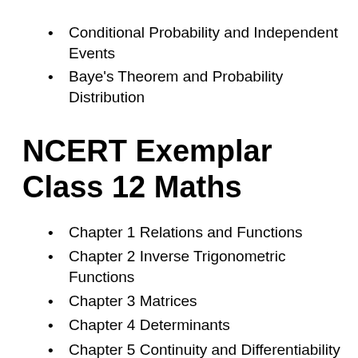Conditional Probability and Independent Events
Baye's Theorem and Probability Distribution
NCERT Exemplar Class 12 Maths
Chapter 1 Relations and Functions
Chapter 2 Inverse Trigonometric Functions
Chapter 3 Matrices
Chapter 4 Determinants
Chapter 5 Continuity and Differentiability